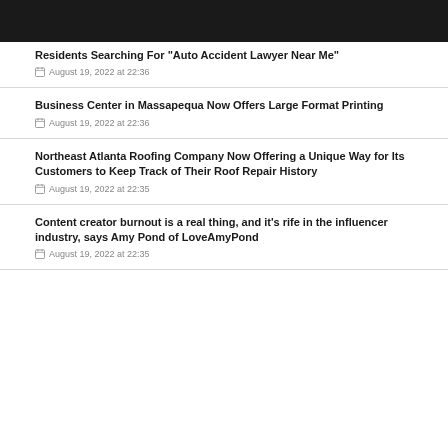Residents Searching For "Auto Accident Lawyer Near Me"
August 19, 2022 at 22:36
Business Center in Massapequa Now Offers Large Format Printing
August 19, 2022 at 22:36
Northeast Atlanta Roofing Company Now Offering a Unique Way for Its Customers to Keep Track of Their Roof Repair History
August 19, 2022 at 22:35
Content creator burnout is a real thing, and it's rife in the influencer industry, says Amy Pond of LoveAmyPond
August 19, 2022 at 22:35